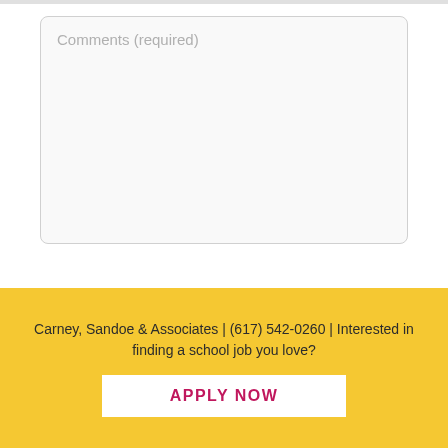[Figure (screenshot): A text area input field with placeholder text 'Comments (required)' on a light gray background with rounded corners]
SUBMIT
Carney, Sandoe & Associates | (617) 542-0260 | Interested in finding a school job you love?
APPLY NOW